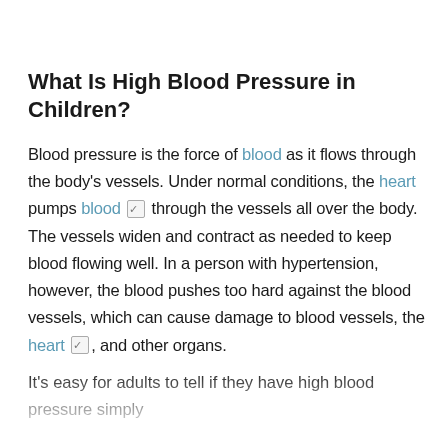What Is High Blood Pressure in Children?
Blood pressure is the force of blood as it flows through the body's vessels. Under normal conditions, the heart pumps blood ☑ through the vessels all over the body. The vessels widen and contract as needed to keep blood flowing well. In a person with hypertension, however, the blood pushes too hard against the blood vessels, which can cause damage to blood vessels, the heart ☑, and other organs.
It's easy for adults to tell if they have high blood pressure simply